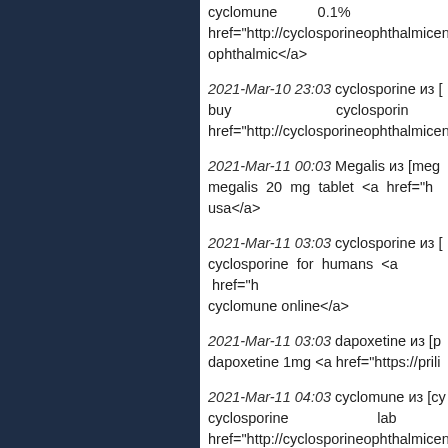cyclomune 0.1% href="http://cyclosporineophthalmicemulsion ophthalmic</a>
2021-Mar-10 23:03 cyclosporine из [ buy cyclosporine href="http://cyclosporineophthalmicemulsion
2021-Mar-11 00:03 Megalis из [mega megalis 20 mg tablet <a href="h usa</a>
2021-Mar-11 03:03 cyclosporine из [ cyclosporine for humans <a href="h cyclomune online</a>
2021-Mar-11 03:03 dapoxetine из [p dapoxetine 1mg <a href="https://prili
2021-Mar-11 04:03 cyclomune из [cy cyclosporine lab href="http://cyclosporineophthalmicemulsion
2021-Mar-11 04:03 dapoxetine из [p dapoxetine for href="https://priligydapoxetinex.com/